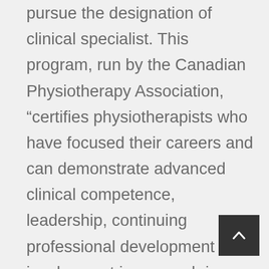pursue the designation of clinical specialist. This program, run by the Canadian Physiotherapy Association, “certifies physiotherapists who have focused their careers and can demonstrate advanced clinical competence, leadership, continuing professional development and involvement in research in a specific area of practice.”

Candidates for the clinical specialist designation must have a minimum of five years of applied clinical experience and a minimum of 300
[Figure (other): Dark grey scroll-to-top button with an upward-pointing chevron arrow, positioned in the bottom-right corner of the page.]